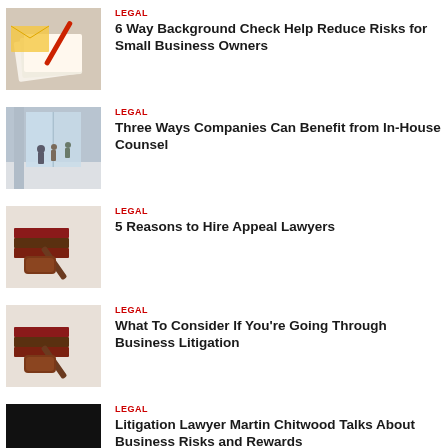[Figure (photo): Papers and documents on a desk with a red pen]
LEGAL
6 Way Background Check Help Reduce Risks for Small Business Owners
[Figure (photo): People walking through a modern building lobby or airport terminal]
LEGAL
Three Ways Companies Can Benefit from In-House Counsel
[Figure (photo): Law books and a wooden gavel on a table]
LEGAL
5 Reasons to Hire Appeal Lawyers
[Figure (photo): Law books and a wooden gavel on a table]
LEGAL
What To Consider If You're Going Through Business Litigation
[Figure (photo): Black image placeholder]
LEGAL
Litigation Lawyer Martin Chitwood Talks About Business Risks and Rewards